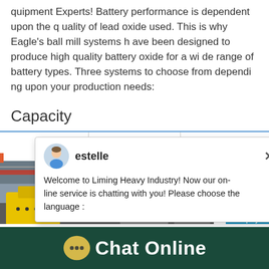quipment Experts! Battery performance is dependent upon the quality of lead oxide used. This is why Eagle's ball mill systems have been designed to produce high quality battery oxide for a wide range of battery types. Three systems to choose from depending upon your production needs:
Capacity
[Figure (screenshot): Chat popup from Liming Heavy Industry with avatar of 'estelle' and message: Welcome to Liming Heavy Industry! Now our on-line service is chatting with you! Please choose the language :]
[Figure (photo): Factory interior showing industrial equipment — yellow machinery in foreground, red overhead crane, steel structure roof visible.]
[Figure (screenshot): Right side live chat widget panel in blue with badge showing '1', 'Click me to chat >>' button, and 'Enquiry' label. Smiley face icon visible.]
Chat Online